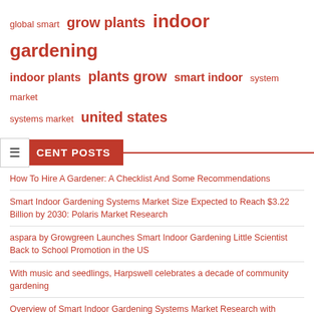[Figure (infographic): Tag cloud with orange/red terms related to indoor gardening: 'global smart', 'grow plants', 'indoor gardening' (largest), 'indoor plants', 'plants grow', 'smart indoor', 'system market', 'systems market', 'united states']
RECENT POSTS
How To Hire A Gardener: A Checklist And Some Recommendations
Smart Indoor Gardening Systems Market Size Expected to Reach $3.22 Billion by 2030: Polaris Market Research
aspara by Growgreen Launches Smart Indoor Gardening Little Scientist Back to School Promotion in the US
With music and seedlings, Harpswell celebrates a decade of community gardening
Overview of Smart Indoor Gardening Systems Market Research with
Smart Indoor Gardening Systems Market Growth Drivers and Investment Opportunity 2028 – Shanghaiist